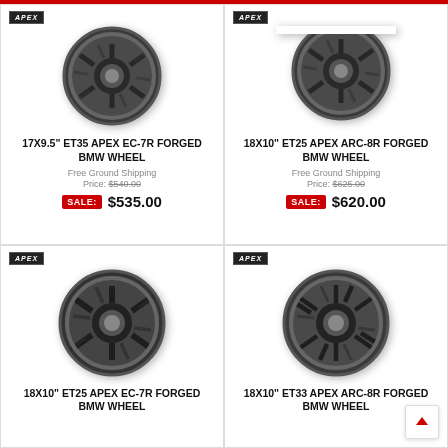[Figure (photo): APEX forged alloy wheel - dark gunmetal, top-left product]
17X9.5" ET35 APEX EC-7R FORGED BMW WHEEL
Free Ground Shipping
Price: $540.00
SALE: $535.00
[Figure (photo): APEX forged alloy wheel - dark gunmetal, top-right product (partially cropped)]
18X10" ET25 APEX ARC-8R FORGED BMW WHEEL
Free Ground Shipping
Price: $625.00
SALE: $620.00
[Figure (photo): APEX forged alloy wheel - dark gunmetal, bottom-left product]
18X10" ET25 APEX EC-7R FORGED BMW WHEEL
[Figure (photo): APEX forged alloy wheel - dark gunmetal, bottom-right product]
18X10" ET33 APEX ARC-8R FORGED BMW WHEEL